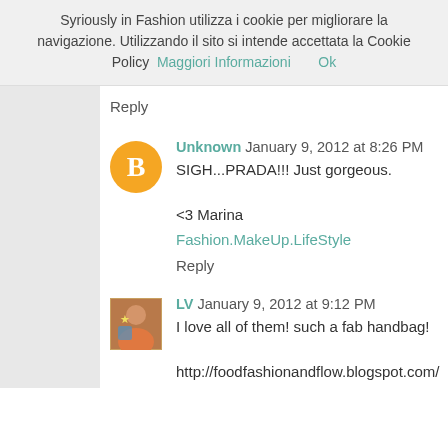Syriously in Fashion utilizza i cookie per migliorare la navigazione. Utilizzando il sito si intende accettata la Cookie Policy  Maggiori Informazioni    Ok
Reply
Unknown January 9, 2012 at 8:26 PM
SIGH...PRADA!!! Just gorgeous.

<3 Marina
Fashion.MakeUp.LifeStyle
Reply
LV January 9, 2012 at 9:12 PM
I love all of them! such a fab handbag!

http://foodfashionandflow.blogspot.com/